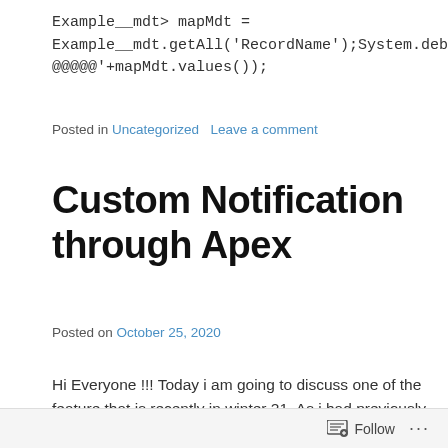Example__mdt> mapMdt = Example__mdt.getAll('RecordName');System.debug('@@@@@@'+mapMdt.values());
Posted in Uncategorized   Leave a comment
Custom Notification through Apex
Posted on October 25, 2020
Hi Everyone !!! Today i am going to discuss one of the feature that is recently in winter 21. As i had previously discussed using custom notification from Process builder
Follow ...